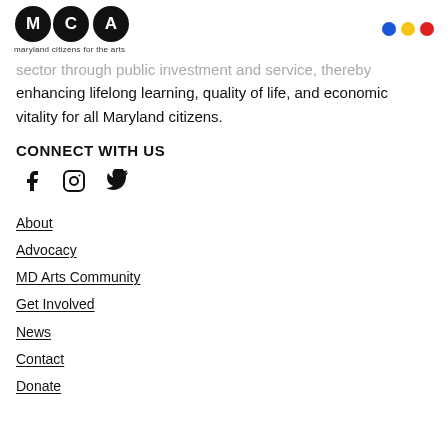MCA maryland citizens for the arts
sector through public investment and service, thereby enhancing lifelong learning, quality of life, and economic vitality for all Maryland citizens.
CONNECT WITH US
[Figure (other): Social media icons: Facebook, Instagram, Twitter]
About
Advocacy
MD Arts Community
Get Involved
News
Contact
Donate